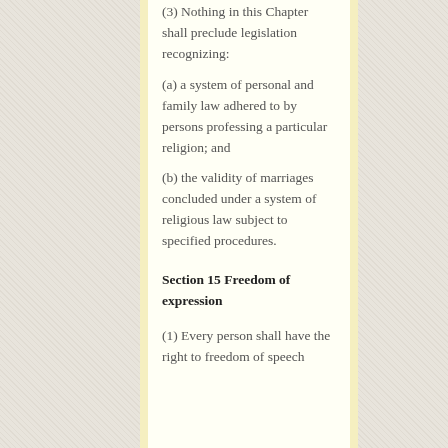(3) Nothing in this Chapter shall preclude legislation recognizing:
(a) a system of personal and family law adhered to by persons professing a particular religion; and
(b) the validity of marriages concluded under a system of religious law subject to specified procedures.
Section 15 Freedom of expression
(1) Every person shall have the right to freedom of speech